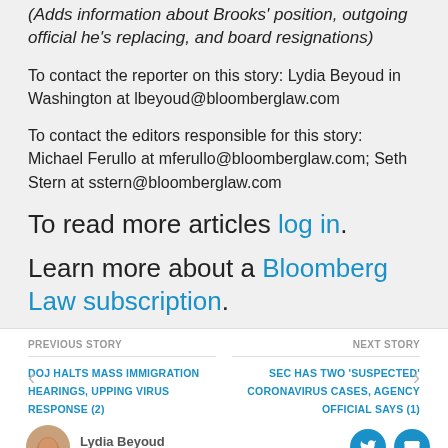(Adds information about Brooks' position, outgoing official he's replacing, and board resignations)
To contact the reporter on this story: Lydia Beyoud in Washington at lbeyoud@bloomberglaw.com
To contact the editors responsible for this story: Michael Ferullo at mferullo@bloomberglaw.com; Seth Stern at sstern@bloomberglaw.com
To read more articles log in.
Learn more about a Bloomberg Law subscription.
PREVIOUS STORY | DOJ HALTS MASS IMMIGRATION HEARINGS, UPPING VIRUS RESPONSE (2) | NEXT STORY | SEC HAS TWO 'SUSPECTED' CORONAVIRUS CASES, AGENCY OFFICIAL SAYS (1) | Lydia Beyoud | Fintech & Regtech Reporter